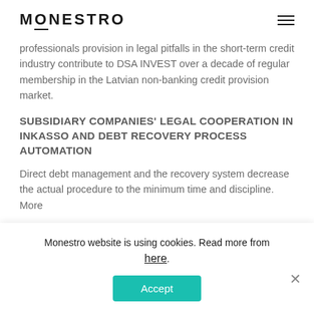MONESTRO
professionals provision in legal pitfalls in the short-term credit industry contribute to DSA INVEST over a decade of regular membership in the Latvian non-banking credit provision market.
SUBSIDIARY COMPANIES' LEGAL COOPERATION IN INKASSO AND DEBT RECOVERY PROCESS AUTOMATION
Direct debt management and the recovery system decrease the actual procedure to the minimum time and discipline. More diverse their individual...
Monestro website is using cookies. Read more from here.
Accept